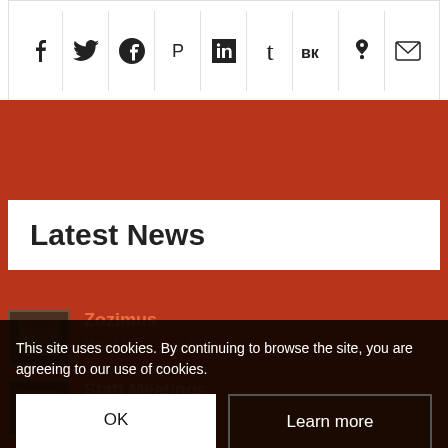[Figure (other): Social share icon bar with icons for Facebook, Twitter, Google+, Pinterest, LinkedIn, Tumblr, VK, Reddit, and email/envelope]
Latest News
Zozimus — May 17, 2022 - 2:36 pm
Staff Meetings — May 17, [time]
Annual Autumn Photoshoot
This site uses cookies. By continuing to browse the site, you are agreeing to our use of cookies.
OK   Learn more